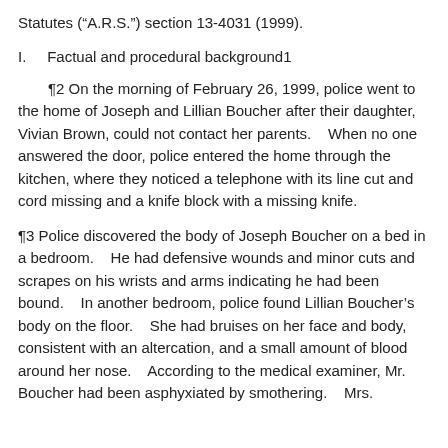Statutes (“A.R.S.”) section 13-4031 (1999).
I.    Factual and procedural background1
¶2 On the morning of February 26, 1999, police went to the home of Joseph and Lillian Boucher after their daughter, Vivian Brown, could not contact her parents.    When no one answered the door, police entered the home through the kitchen, where they noticed a telephone with its line cut and cord missing and a knife block with a missing knife.
¶3 Police discovered the body of Joseph Boucher on a bed in a bedroom.    He had defensive wounds and minor cuts and scrapes on his wrists and arms indicating he had been bound.    In another bedroom, police found Lillian Boucher’s body on the floor.    She had bruises on her face and body, consistent with an altercation, and a small amount of blood around her nose.    According to the medical examiner, Mr. Boucher had been asphyxiated by smothering.    Mrs.